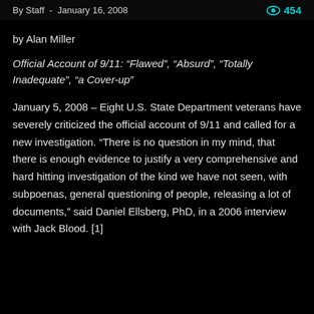By Staff - January 16, 2008   👁 454
by Alan Miller
Official Account of 9/11: “Flawed”, “Absurd”, “Totally Inadequate”, “a Cover-up”
January 5, 2008 – Eight U.S. State Department veterans have severely criticized the official account of 9/11 and called for a new investigation. “There is no question in my mind, that there is enough evidence to justify a very comprehensive and hard hitting investigation of the kind we have not seen, with subpoenas, general questioning of people, releasing a lot of documents,” said Daniel Ellsberg, PhD, in a 2006 interview with Jack Blood. [1]